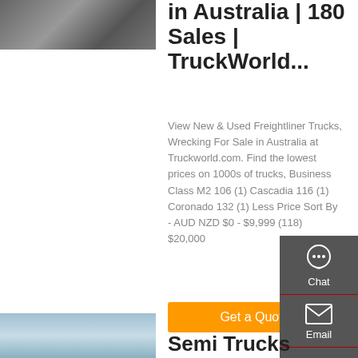[Figure (photo): Partial view of a truck/semi on a road, top-left corner]
in Australia | 180 Sales | TruckWorld...
View New & Used Freightliner Trucks, Wrecking For Sale in Australia at Truckworld.com. Find the lowest prices on 1000s of trucks, Business Class M2 106 (1) Cascadia 116 (1) Coronado 132 (1) Less Price Sort By - AUD NZD $0 - $9,999 (118) $20,000
[Figure (infographic): Side panel with Chat, Email, Contact, and Top navigation icons on dark grey background]
[Figure (photo): Partial view of semi truck equipment, bottom-left]
Semi Trucks